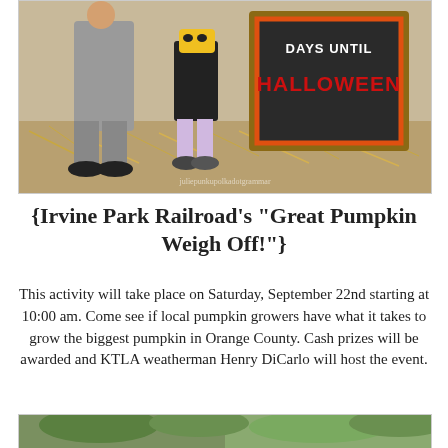[Figure (photo): Two children standing in front of a chalkboard sign that reads 'DAYS UNTIL HALLOWEEN' in red letters on a wooden pallet frame, surrounded by dry hay. A watermark reads 'juliepunkupolkadotgrammar'.]
{Irvine Park Railroad's "Great Pumpkin Weigh Off!"}
This activity will take place on Saturday, September 22nd starting at 10:00 am. Come see if local pumpkin growers have what it takes to grow the biggest pumpkin in Orange County. Cash prizes will be awarded and KTLA weatherman Henry DiCarlo will host the event.
[Figure (photo): Partial view of outdoor trees and greenery, cropped at bottom of page.]